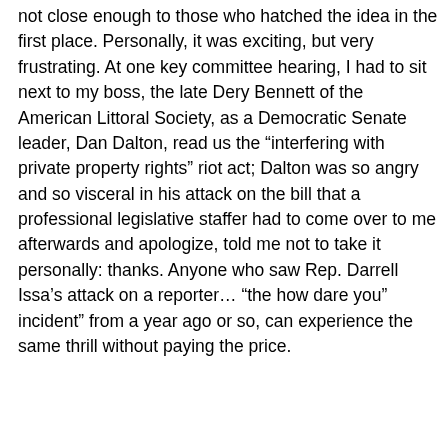not close enough to those who hatched the idea in the first place. Personally, it was exciting, but very frustrating. At one key committee hearing, I had to sit next to my boss, the late Dery Bennett of the American Littoral Society, as a Democratic Senate leader, Dan Dalton, read us the “interfering with private property rights” riot act; Dalton was so angry and so visceral in his attack on the bill that a professional legislative staffer had to come over to me afterwards and apologize, told me not to take it personally: thanks. Anyone who saw Rep. Darrell Issa’s attack on a reporter… “the how dare you” incident” from a year ago or so, can experience the same thrill without paying the price.